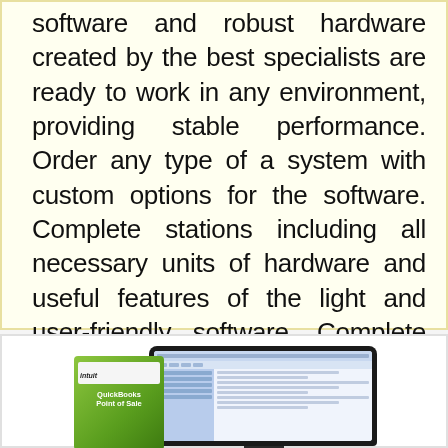software and robust hardware created by the best specialists are ready to work in any environment, providing stable performance. Order any type of a system with custom options for the software. Complete stations including all necessary units of hardware and useful features of the light and user-friendly software. Complete the form on our web-site and one of the representatives in POS Services Transylvania County will assist you.
POS System >
[Figure (photo): QuickBooks Point of Sale software box next to a monitor/laptop displaying a spreadsheet-like POS interface]